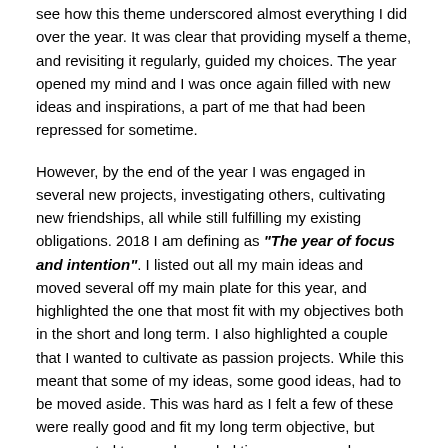see how this theme underscored almost everything I did over the year. It was clear that providing myself a theme, and revisiting it regularly, guided my choices. The year opened my mind and I was once again filled with new ideas and inspirations, a part of me that had been repressed for sometime.
However, by the end of the year I was engaged in several new projects, investigating others, cultivating new friendships, all while still fulfilling my existing obligations. 2018 I am defining as "The year of focus and intention". I listed out all my main ideas and moved several off my main plate for this year, and highlighted the one that most fit with my objectives both in the short and long term. I also highlighted a couple that I wanted to cultivate as passion projects. While this meant that some of my ideas, some good ideas, had to be moved aside. This was hard as I felt a few of these were really good and fit my long term objective, but represented too much needed time, money and attention. Less is more.
A growth mindset
During 2017 I was introduced to the concept of a growth mindset. A belief that my talents are not predefined and can be developed and improved through intentional effort. As I move into 2018 I know that I